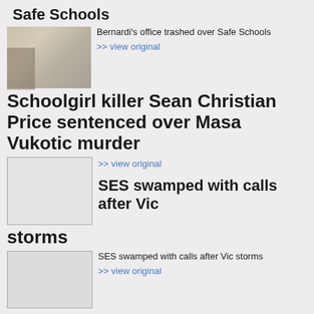Safe Schools
[Figure (photo): Photo of a trashed office interior]
Bernardi's office trashed over Safe Schools
>> view original
Schoolgirl killer Sean Christian Price sentenced over Masa Vukotic murder
[Figure (photo): Blank/placeholder image]
>> view original
SES swamped with calls after Vic storms
[Figure (photo): Blank/placeholder image for SES story]
SES swamped with calls after Vic storms
>> view original